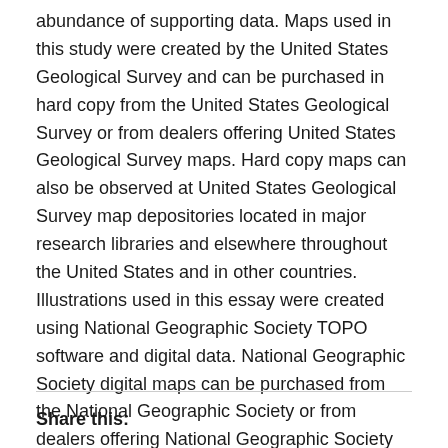abundance of supporting data. Maps used in this study were created by the United States Geological Survey and can be purchased in hard copy from the United States Geological Survey or from dealers offering United States Geological Survey maps. Hard copy maps can also be observed at United States Geological Survey map depositories located in major research libraries and elsewhere throughout the United States and in other countries. Illustrations used in this essay were created using National Geographic Society TOPO software and digital data. National Geographic Society digital maps can be purchased from the National Geographic Society or from dealers offering National Geographic Society digital maps.
Share this: